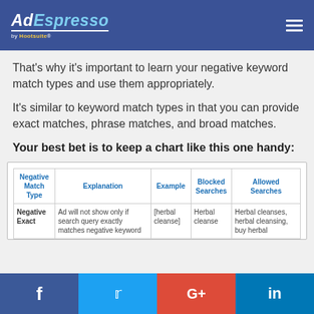AdEspresso by Hootsuite
That’s why it’s important to learn your negative keyword match types and use them appropriately.
It’s similar to keyword match types in that you can provide exact matches, phrase matches, and broad matches.
Your best bet is to keep a chart like this one handy:
| Negative Match Type | Explanation | Example | Blocked Searches | Allowed Searches |
| --- | --- | --- | --- | --- |
| Negative Exact | Ad will not show only if search query exactly matches negative keyword | [herbal cleanse] | Herbal cleanse | Herbal cleanses, herbal cleansing, buy herbal |
f  Twitter  G+  in